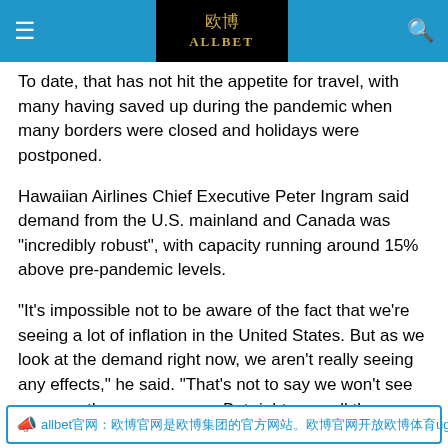☰ 欧博 ALLBET 🔍
To date, that has not hit the appetite for travel, with many having saved up during the pandemic when many borders were closed and holidays were postponed.
Hawaiian Airlines Chief Executive Peter Ingram said demand from the U.S. mainland and Canada was "incredibly robust", with capacity running around 15% above pre-pandemic levels.
"It's impossible not to be aware of the fact that we're seeing a lot of inflation in the United States. But as we look at the demand right now, we aren't really seeing any effects," he said. "That's not to say we won't see some as the year goes on. But right now, all the demand indicators are very strong."
allbet官网：欧博官网是欧博集团的官方网站。欧博官网开放欧博体育ug610平台、欧博游戏www.ugbet.us